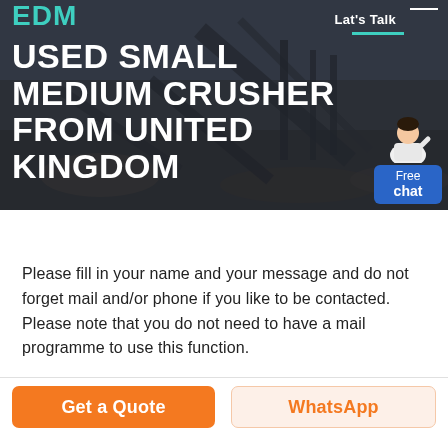[Figure (photo): Industrial crusher/mining equipment background photo with dark overlay, showing conveyor belts and machinery at a quarry or mining site]
USED SMALL MEDIUM CRUSHER FROM UNITED KINGDOM
Let's Talk
Free chat
Please fill in your name and your message and do not forget mail and/or phone if you like to be contacted. Please note that you do not need to have a mail programme to use this function.
Get a Quote
WhatsApp